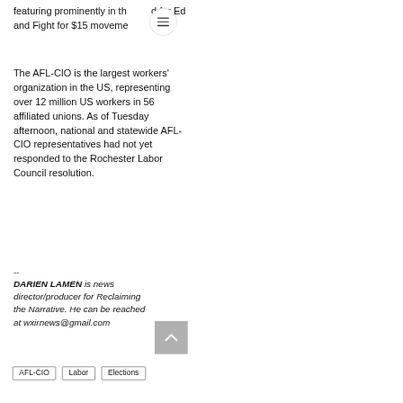featuring prominently in the [menu] d for Ed and Fight for $15 moveme[nt]
The AFL-CIO is the largest workers' organization in the US, representing over 12 million US workers in 56 affiliated unions. As of Tuesday afternoon, national and statewide AFL-CIO representatives had not yet responded to the Rochester Labor Council resolution.
--
DARIEN LAMEN is news director/producer for Reclaiming the Narrative. He can be reached at wxirnews@gmail.com
AFL-CIO
Labor
Elections